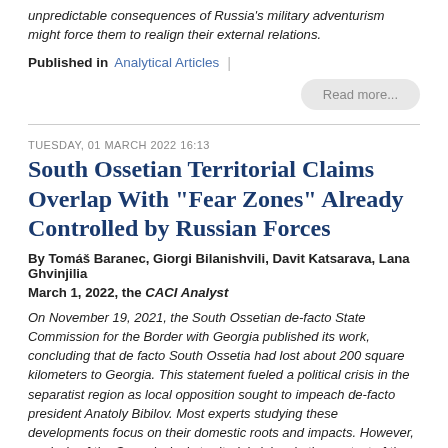unpredictable consequences of Russia's military adventurism might force them to realign their external relations.
Published in  Analytical Articles
Read more...
TUESDAY, 01 MARCH 2022 16:13
South Ossetian Territorial Claims Overlap With "Fear Zones" Already Controlled by Russian Forces
By Tomáš Baranec, Giorgi Bilanishvili, Davit Katsarava, Lana Ghvinjilia
March 1, 2022, the CACI Analyst
On November 19, 2021, the South Ossetian de-facto State Commission for the Border with Georgia published its work, concluding that de facto South Ossetia had lost about 200 square kilometers to Georgia. This statement fueled a political crisis in the separatist region as local opposition sought to impeach de-facto president Anatoly Bibilov. Most experts studying these developments focus on their domestic roots and impacts. However, analysis of the Commission's territorial claims in the context of the continuous